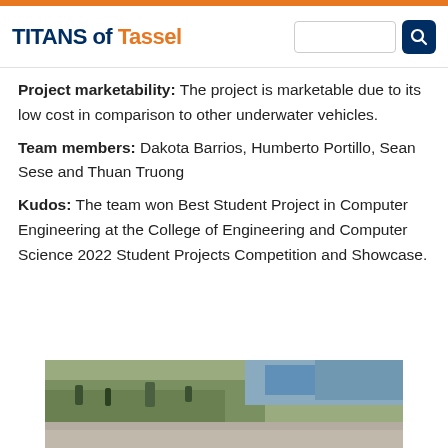TITANS of Tassel
Project marketability: The project is marketable due to its low cost in comparison to other underwater vehicles.
Team members: Dakota Barrios, Humberto Portillo, Sean Sese and Thuan Truong
Kudos: The team won Best Student Project in Computer Engineering at the College of Engineering and Computer Science 2022 Student Projects Competition and Showcase.
[Figure (photo): Outdoor photo showing vegetation and concrete surface, possibly an underwater vehicle or outdoor project setting]